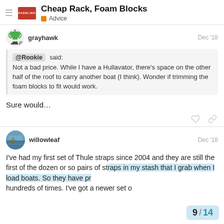Cheap Rack, Foam Blocks — Advice
grayhawk — Dec '18
@Rookie said: Not a bad price. While I have a Hullavator, there's space on the other half of the roof to carry another boat (I think). Wonder if trimming the foam blocks to fit would work.
Sure would...
willowleaf — Dec '18
I've had my first set of Thule straps since 2004 and they are still the first of the dozen or so pairs of straps in my stash that I grab when I load boats. So they have pr hundreds of times. I've got a newer set o